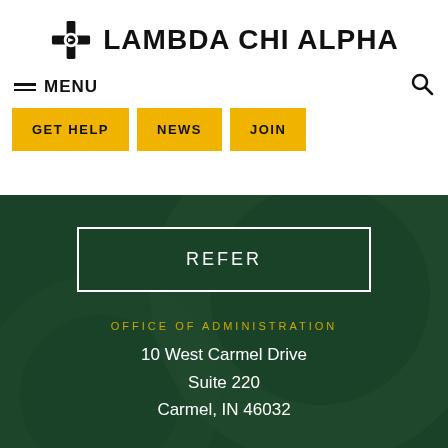LAMBDA CHI ALPHA
MENU
GET HELP
NEWS
JOIN
REFER
OFFICE OF ADMINISTRATION
10 West Carmel Drive
Suite 220
Carmel, IN 46032